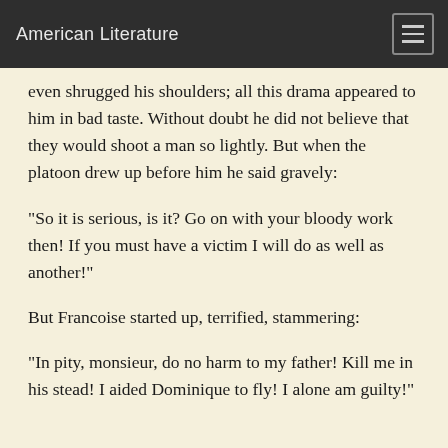American Literature
even shrugged his shoulders; all this drama appeared to him in bad taste. Without doubt he did not believe that they would shoot a man so lightly. But when the platoon drew up before him he said gravely:
"So it is serious, is it? Go on with your bloody work then! If you must have a victim I will do as well as another!"
But Francoise started up, terrified, stammering:
"In pity, monsieur, do no harm to my father! Kill me in his stead! I aided Dominique to fly! I alone am guilty!"